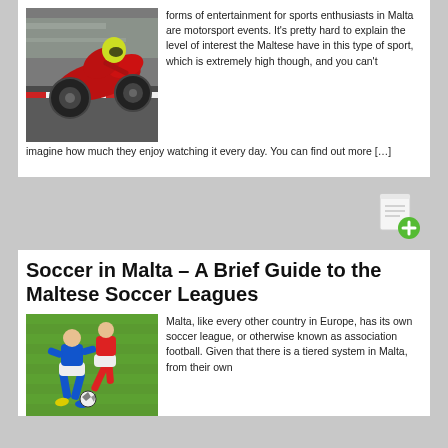[Figure (photo): Motorcycle racer on a red sport bike leaning into a curve on a racing track]
forms of entertainment for sports enthusiasts in Malta are motorsport events. It's pretty hard to explain the level of interest the Maltese have in this type of sport, which is extremely high though, and you can't imagine how much they enjoy watching it every day. You can find out more […]
[Figure (other): New post icon — a document page with a green plus sign]
Soccer in Malta – A Brief Guide to the Maltese Soccer Leagues
[Figure (photo): Soccer players in a tackle on a grass field]
Malta, like every other country in Europe, has its own soccer league, or otherwise known as association football. Given that there is a tiered system in Malta, from their own